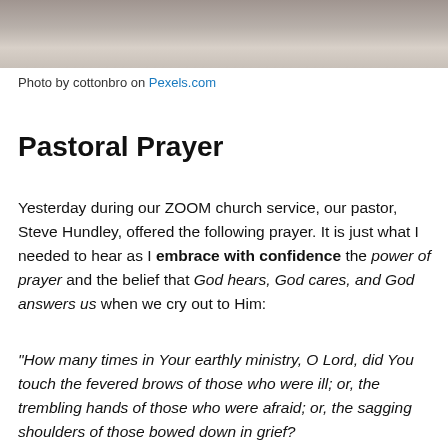[Figure (photo): Cropped photo showing hands clasped together, possibly in prayer, against a gray/beige background. Only the bottom portion of the photo is visible.]
Photo by cottonbro on Pexels.com
Pastoral Prayer
Yesterday during our ZOOM church service, our pastor, Steve Hundley, offered the following prayer. It is just what I needed to hear as I embrace with confidence the power of prayer and the belief that God hears, God cares, and God answers us when we cry out to Him:
“How many times in Your earthly ministry, O Lord, did You touch the fevered brows of those who were ill; or, the trembling hands of those who were afraid; or, the sagging shoulders of those bowed down in grief?